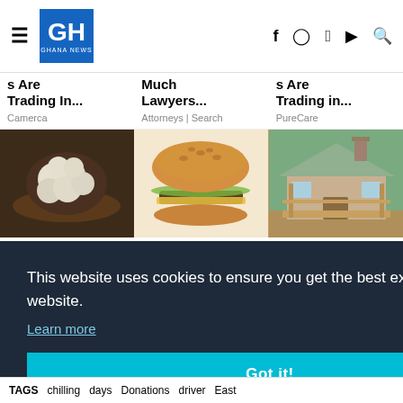GH GHANA NEWS — navigation with hamburger menu, logo, and social icons (f, instagram, twitter, youtube, search)
s Are Trading In...
Camerca
Much Lawyers...
Attorneys | Search
s Are Trading in...
PureCare
[Figure (photo): Cauliflower on a wooden plate]
[Figure (photo): A burger with sesame bun and melted cheese]
[Figure (photo): A small wooden cabin/house with porch]
ior
ce...
This website uses cookies to ensure you get the best experience on our website.
Learn more
Got it!
TAGS   chilling   days   Donations   driver   East